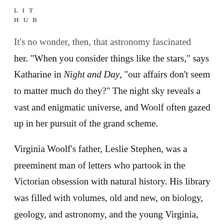LIT
HUB
It's no wonder, then, that astronomy fascinated her. “When you consider things like the stars,” says Katharine in Night and Day, “our affairs don’t seem to matter much do they?” The night sky reveals a vast and enigmatic universe, and Woolf often gazed up in her pursuit of the grand scheme.
Virginia Woolf’s father, Leslie Stephen, was a preeminent man of letters who partook in the Victorian obsession with natural history. His library was filled with volumes, old and new, on biology, geology, and astronomy, and the young Virginia, who did not receive a formal